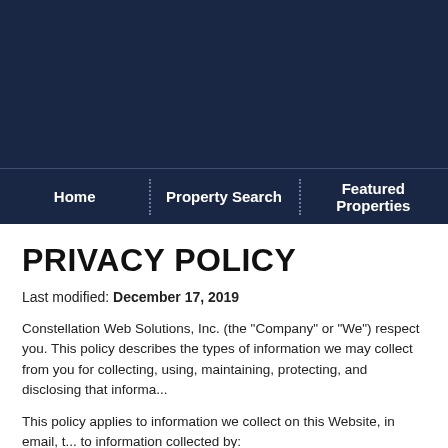[Figure (other): Dark navy blue header banner area at the top of the webpage]
Home | Property Search | Featured Properties
PRIVACY POLICY
Last modified: December 17, 2019
Constellation Web Solutions, Inc. (the "Company" or "We") respect you. This policy describes the types of information we may collect from you for collecting, using, maintaining, protecting, and disclosing that informa...
This policy applies to information we collect on this Website, in email, to information collected by:
Us offline or through any other means, including on any other we... subsidiaries); or